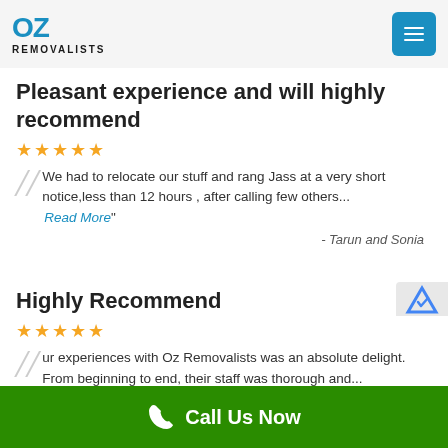[Figure (logo): Oz Removalists logo with blue OZ text and hamburger menu button]
Pleasant experience and will highly recommend
★★★★★
We had to relocate our stuff and rang Jass at a very short notice,less than 12 hours , after calling few others... Read More"
- Tarun and Sonia
Highly Recommend
★★★★★
ur experiences with Oz Removalists was an absolute delight. From beginning to end, their staff was thorough and... Read More"
Call Us Now